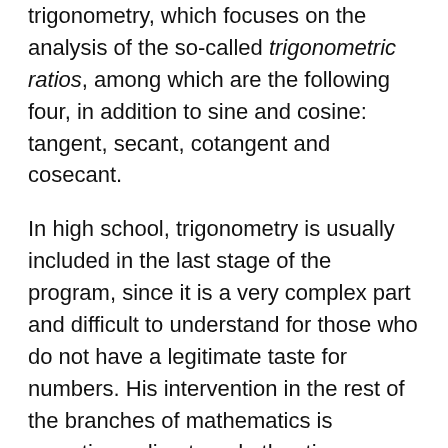trigonometry, which focuses on the analysis of the so-called trigonometric ratios, among which are the following four, in addition to sine and cosine: tangent, secant, cotangent and cosecant.
In high school, trigonometry is usually included in the last stage of the program, since it is a very complex part and difficult to understand for those who do not have a legitimate taste for numbers. His intervention in the rest of the branches of mathematics is sometimes direct, and other times, indirect; Broadly speaking, we can say that its application takes place whenever it becomes necessary to carry out measurements with a high degree of precision.
Suppose we have a right triangle ABC, with one 90o angle and two 45o angles. By dividing one of the